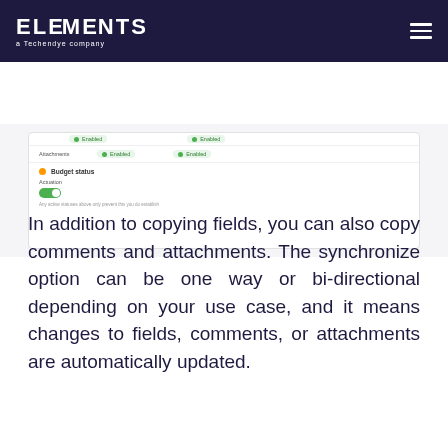ELEMENTS a Techendye company
[Figure (screenshot): Screenshot of a settings interface showing fields with 'Enabled' badges, a 'Budget status' section with an Actuation toggle turned on, and helper text below.]
In addition to copying fields, you can also copy comments and attachments. The synchronize option can be one way or bi-directional depending on your use case, and it means changes to fields, comments, or attachments are automatically updated.